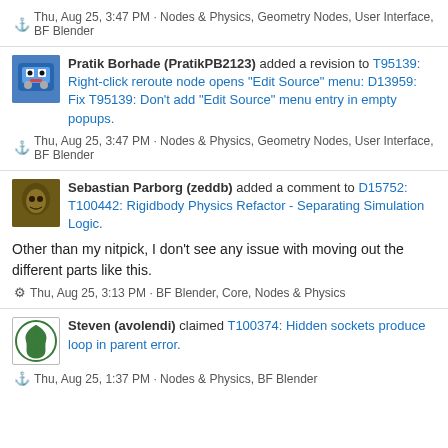⚓ Thu, Aug 25, 3:47 PM · Nodes & Physics, Geometry Nodes, User Interface, BF Blender
Pratik Borhade (PratikPB2123) added a revision to T95139: Right-click reroute node opens "Edit Source" menu: D13959: Fix T95139: Don't add "Edit Source" menu entry in empty popups.
⚓ Thu, Aug 25, 3:47 PM · Nodes & Physics, Geometry Nodes, User Interface, BF Blender
Sebastian Parborg (zeddb) added a comment to D15752: T100442: Rigidbody Physics Refactor - Separating Simulation Logic.
Other than my nitpick, I don't see any issue with moving out the different parts like this.
⚙ Thu, Aug 25, 3:13 PM · BF Blender, Core, Nodes & Physics
Steven (avolendi) claimed T100374: Hidden sockets produce loop in parent error.
⚓ Thu, Aug 25, 1:37 PM · Nodes & Physics, BF Blender